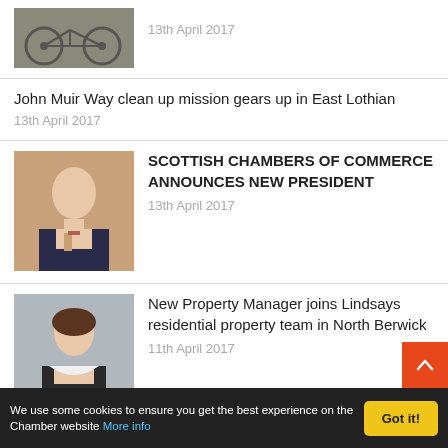[Figure (photo): Partial bicycle wheel photo thumbnail]
13th April 2017
John Muir Way clean up mission gears up in East Lothian
13th April 2017
[Figure (photo): Professional headshot of a man in a suit]
SCOTTISH CHAMBERS OF COMMERCE ANNOUNCES NEW PRESIDENT
13th April 2017
[Figure (photo): Professional headshot of a woman smiling]
New Property Manager joins Lindsays residential property team in North Berwick
11th April 2017
[Figure (photo): Professional headshot of a woman]
Landlords be prepared for the new rules... the countdown is on!
We use some cookies to ensure you get the best experience on the Chamber website More info